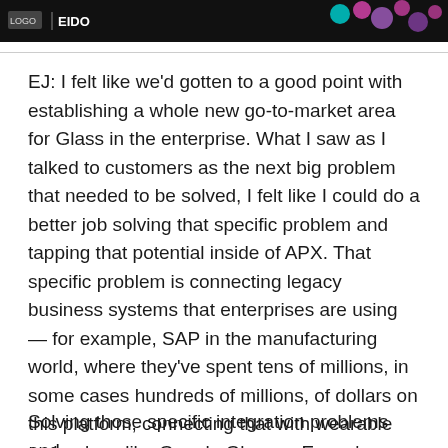[Figure (screenshot): Dark banner image showing a logo with colored circles/dots on the right side (teal, pink, purple) on a black background]
EJ: I felt like we'd gotten to a good point with establishing a whole new go-to-market area for Glass in the enterprise. What I saw as I talked to customers as the next big problem that needed to be solved, I felt like I could do a better job solving that specific problem and tapping that potential inside of APX. That specific problem is connecting legacy business systems that enterprises are using — for example, SAP in the manufacturing world, where they've spent tens of millions, in some cases hundreds of millions, of dollars on this platform, connecting that with wearable technology like Google Glass or Epson's Moverio smartglasses.
Solving those specific integration problems and